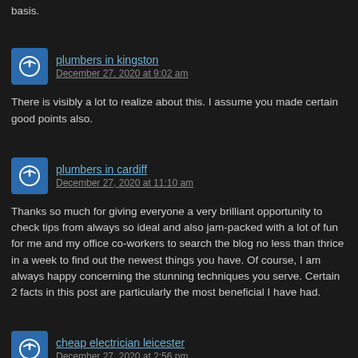basis.
plumbers in kingston
December 27, 2020 at 9:02 am
There is visibly a lot to realize about this. I assume you made certain good points also.
plumbers in cardiff
December 27, 2020 at 11:10 am
Thanks so much for giving everyone a very brilliant opportunity to check tips from always so ideal and also jam-packed with a lot of fun for me and my office co-workers to search the blog no less than thrice in a week to find out the newest things you have. Of course, I am always happy concerning the stunning techniques you serve. Certain 2 facts in this post are particularly the most beneficial I have had.
cheap electrician leicester
December 27, 2020 at 2:56 pm
Thank you for any other excellent post. Where else may anyone get that kind of information in a perfect way of writing? I've a presentation next week, and I am on the look for such